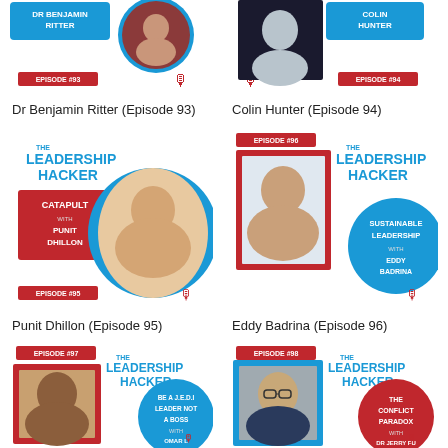[Figure (illustration): The Leadership Hacker podcast card for Dr Benjamin Ritter, Episode #93, partial top crop]
Dr Benjamin Ritter (Episode 93)
[Figure (illustration): The Leadership Hacker podcast card for Colin Hunter, Episode #94, partial top crop]
Colin Hunter (Episode 94)
[Figure (illustration): The Leadership Hacker podcast card for Punit Dhillon, Episode #95, Catapult]
Punit Dhillon (Episode 95)
[Figure (illustration): The Leadership Hacker podcast card for Eddy Badrina, Episode #96, Sustainable Leadership]
Eddy Badrina (Episode 96)
[Figure (illustration): The Leadership Hacker podcast card for Omar L Harris, Episode #97, Be A J.E.D.I Leader Not A Boss]
[Figure (illustration): The Leadership Hacker podcast card for Dr Jerry Fu, Episode #98, The Conflict Paradox]